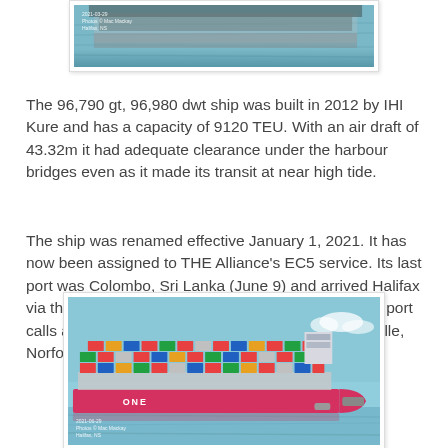[Figure (photo): Partial view of a ship on water, top portion of the image cropped. Watermark text visible: '2021-03-29 / Photos © Mac Mackay / Halifax, NS']
The 96,790 gt, 96,980 dwt ship was built in 2012 by IHI Kure and has a capacity of 9120 TEU. With an air draft of 43.32m it had adequate clearance under the harbour bridges even as it made its transit at near high tide.
The ship was renamed effective January 1, 2021. It has now been assigned to THE Alliance's EC5 service. Its last port was Colombo, Sri Lanka (June 9) and arrived Halifax via the Suez Canal (June 16-17). Its next scheduled port calls are New York (Bayonne), Savannah, Jacksonville, Norfolk and back to Halifax for July 12.
[Figure (photo): Container ship with pink/red hull marked 'ONE', heavily loaded with colourful containers, assisted by tug boats in Halifax harbour. Watermark text: '2021-06-29 / Photos © Mac Mackay / Halifax, NS']